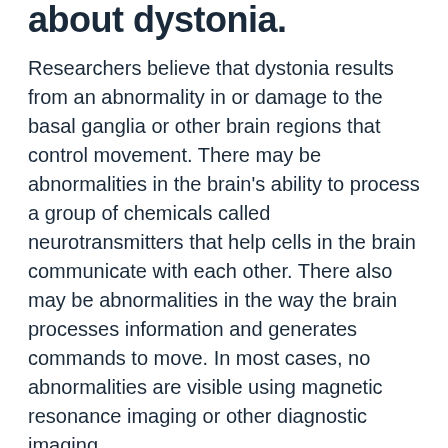about dystonia.
Researchers believe that dystonia results from an abnormality in or damage to the basal ganglia or other brain regions that control movement. There may be abnormalities in the brain's ability to process a group of chemicals called neurotransmitters that help cells in the brain communicate with each other. There also may be abnormalities in the way the brain processes information and generates commands to move. In most cases, no abnormalities are visible using magnetic resonance imaging or other diagnostic imaging.
The dystonias can be divided into three groups: idiopathic, genetic, and acquired.
Idiopathic dystonia refers to dystonia that does not have a clear cause.  Many instances of dystonia are idiopathic.